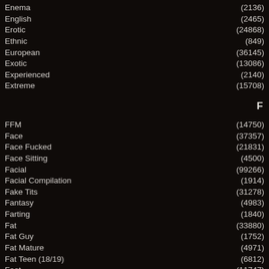Enema (2136)
English (2465)
Erotic (24868)
Ethnic (849)
European (36145)
Exotic (13086)
Experienced (2140)
Extreme (15708)
F
FFM (14750)
Face (37357)
Face Fucked (21831)
Face Sitting (4500)
Facial (99266)
Facial Compilation (1914)
Fake Tits (31278)
Fantasy (4983)
Farting (1840)
Fat (33880)
Fat Guy (1752)
Fat Mature (4971)
Fat Teen (18/19) (6812)
Feet (11747)
Femdom (21035)
Fetish (122155)
Fighting (1272)
Filipin (836)
Fingering (117283)
First Time (11594)
First Time Anal (3327)